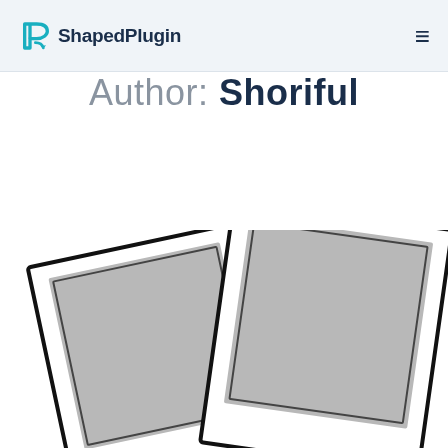ShapedPlugin
Author: Shoriful
[Figure (illustration): Two polaroid-style photo frames overlapping, with grey placeholder rectangles inside white borders, partially cropped at bottom of page]